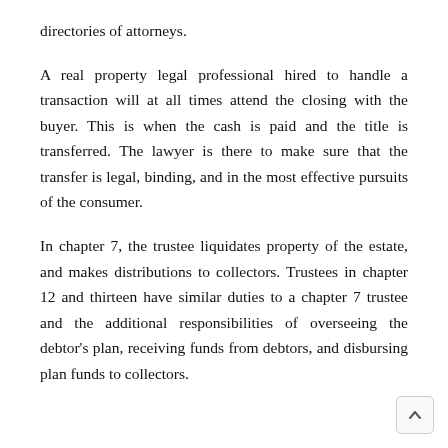directories of attorneys.
A real property legal professional hired to handle a transaction will at all times attend the closing with the buyer. This is when the cash is paid and the title is transferred. The lawyer is there to make sure that the transfer is legal, binding, and in the most effective pursuits of the consumer.
In chapter 7, the trustee liquidates property of the estate, and makes distributions to collectors. Trustees in chapter 12 and thirteen have similar duties to a chapter 7 trustee and the additional responsibilities of overseeing the debtor’s plan, receiving funds from debtors, and disbursing plan funds to collectors.